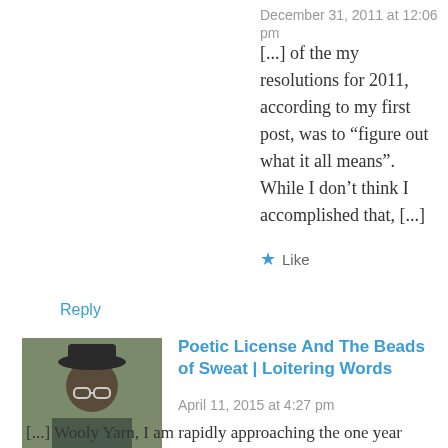December 31, 2011 at 12:06 pm
[...] of the my resolutions for 2011, according to my first post, was to “figure out what it all means”. While I don’t think I accomplished that, [...]
★ Like
Reply
Poetic License And The Beads of Sweat | Loitering Words
April 11, 2015 at 4:27 pm
[...] Wooly Yarn, I am rapidly approaching the one year anniversary of this blog, having started it on December 31st, the last day of the year...